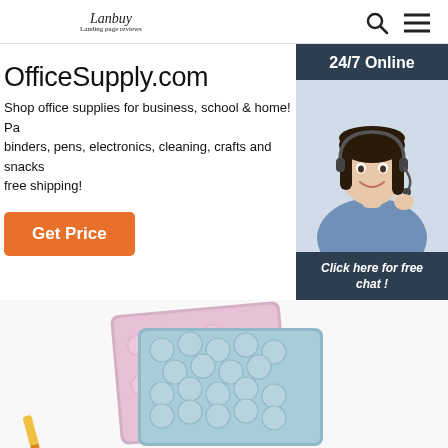Lanbuy | Search | Menu
OfficeSupply.com
Shop office supplies for business, school & home! Pa... binders, pens, electronics, cleaning, crafts and snacks free shipping!
Get Price
[Figure (photo): Customer service agent woman with headset smiling, with '24/7 Online' header and 'Click here for free chat!' and 'QUOTATION' button on dark blue background widget]
[Figure (photo): Colorful glittery notebooks/binders (pink, blue/teal) photographed from above, partially visible at bottom of page]